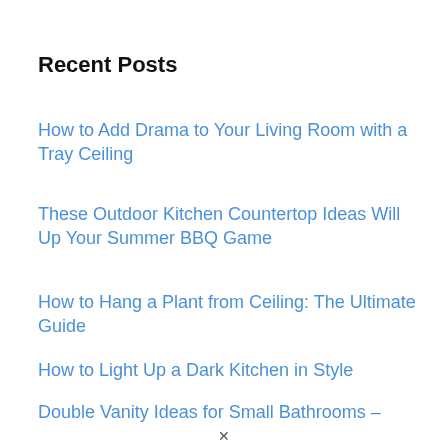Recent Posts
How to Add Drama to Your Living Room with a Tray Ceiling
These Outdoor Kitchen Countertop Ideas Will Up Your Summer BBQ Game
How to Hang a Plant from Ceiling: The Ultimate Guide
How to Light Up a Dark Kitchen in Style
Double Vanity Ideas for Small Bathrooms –